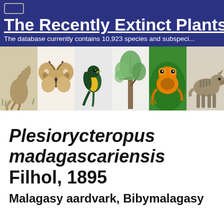The Recently Extinct Plants an...
The database currently contains 10,923 species and subspeci...
[Figure (illustration): Banner of six extinct species illustrations: kangaroo, moth, parrot/bird, plant, golden frog, thylacine]
Plesiorycteropus madagascariensis Filhol, 1895
Malagasy aardvark, Bibymalagasy
Taxonomy & Nomenclature